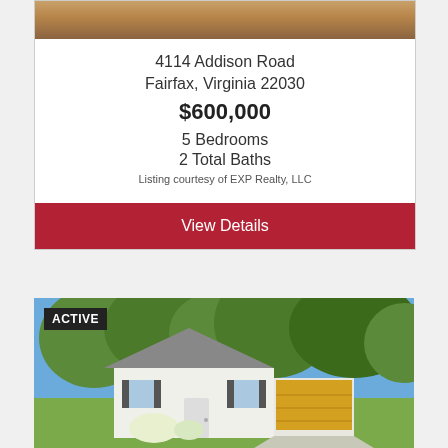[Figure (photo): Top portion of a property photo showing hardwood flooring]
4114 Addison Road
Fairfax, Virginia 22030
$600,000
5 Bedrooms
2 Total Baths
Listing courtesy of EXP Realty, LLC
View Details
[Figure (photo): ACTIVE listing photo of a white single-story house with trees in the background and a garage with yellow door]